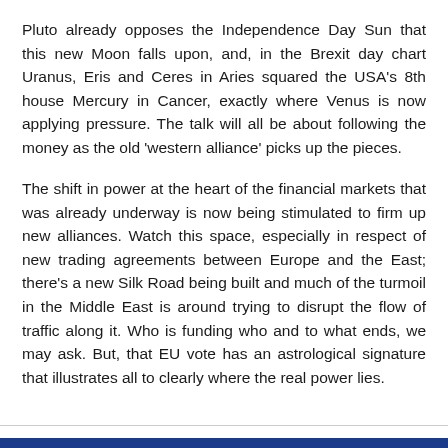Pluto already opposes the Independence Day Sun that this new Moon falls upon, and, in the Brexit day chart Uranus, Eris and Ceres in Aries squared the USA's 8th house Mercury in Cancer, exactly where Venus is now applying pressure. The talk will all be about following the money as the old 'western alliance' picks up the pieces.
The shift in power at the heart of the financial markets that was already underway is now being stimulated to firm up new alliances. Watch this space, especially in respect of new trading agreements between Europe and the East; there's a new Silk Road being built and much of the turmoil in the Middle East is around trying to disrupt the flow of traffic along it. Who is funding who and to what ends, we may ask. But, that EU vote has an astrological signature that illustrates all to clearly where the real power lies.